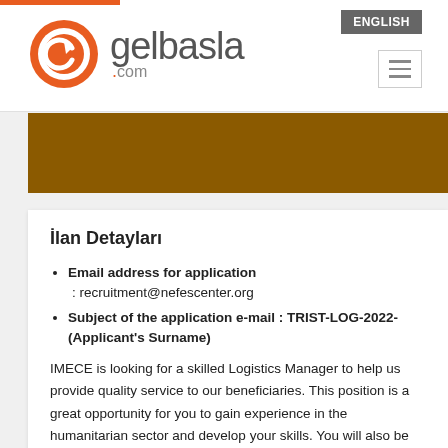[Figure (logo): gelbasla.com logo with orange circular G icon and gray text]
ENGLISH
[Figure (other): Brown/tan decorative banner image]
İlan Detayları
Email address for application : recruitment@nefescenter.org
Subject of the application e-mail : TRIST-LOG-2022-(Applicant's Surname)
IMECE is looking for a skilled Logistics Manager to help us provide quality service to our beneficiaries. This position is a great opportunity for you to gain experience in the humanitarian sector and develop your skills. You will also be an important member of our team focusing on migrants who has been ill-treated to help them heal both psychological and physical.